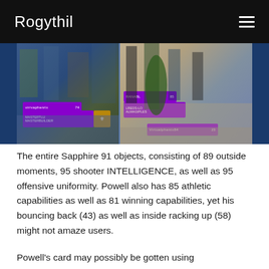Rogythil
[Figure (screenshot): Two side-by-side screenshots from a basketball video game (NBA 2K) showing players on a court with purple name tags and UI overlays. Left panel shows players on a blue-toned court, right panel shows players on an outdoor court with purple HUD labels including 'Virtualphenix84'.]
The entire Sapphire 91 objects, consisting of 89 outside moments, 95 shooter INTELLIGENCE, as well as 95 offensive uniformity. Powell also has 85 athletic capabilities as well as 81 winning capabilities, yet his bouncing back (43) as well as inside racking up (58) might not amaze users.
Powell's card may possibly be gotten using g91JNStmdL. Players need to act swiftly to include another card to their MyTeam roster.